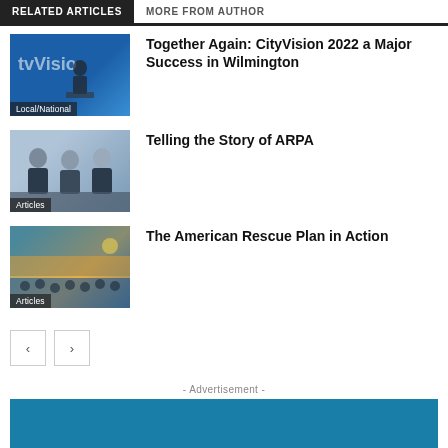RELATED ARTICLES | MORE FROM AUTHOR
[Figure (photo): Person speaking at a CityVision event, blue background with 'tvVision' text visible. Label: Local/National]
Together Again: CityVision 2022 a Major Success in Wilmington
[Figure (photo): Three men in suits seated at a panel discussion table. Label: Articles]
Telling the Story of ARPA
[Figure (photo): Outdoor concert or community event at dusk with crowd and stage lights. Label: Articles]
The American Rescue Plan in Action
< >
- Advertisement -
[Figure (photo): Teal/blue advertisement banner (partial)]